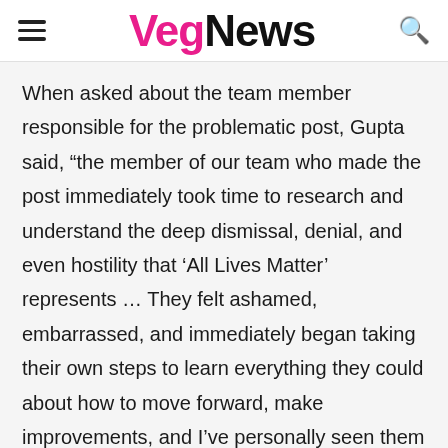VegNews
When asked about the team member responsible for the problematic post, Gupta said, “the member of our team who made the post immediately took time to research and understand the deep dismissal, denial, and even hostility that ‘All Lives Matter’ represents … They felt ashamed, embarrassed, and immediately began taking their own steps to learn everything they could about how to move forward, make improvements, and I’ve personally seen them follow through on every single commitment they’ve made to being a better advocate for the Black Lives Matter movement. The entire Vegancuts organization is made up of individuals who support its mission and we are each supporting the Black community in our own ways…